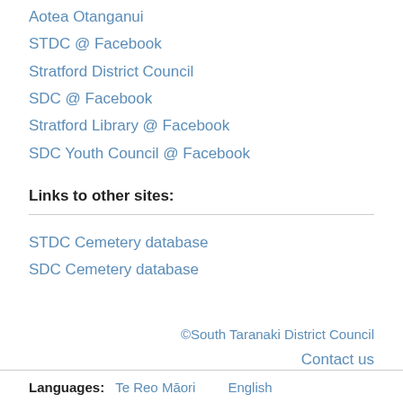Aotea Otanganui
STDC @ Facebook
Stratford District Council
SDC @ Facebook
Stratford Library @ Facebook
SDC Youth Council @ Facebook
Links to other sites:
STDC Cemetery database
SDC Cemetery database
©South Taranaki District Council
Contact us
Languages: Te Reo Māori  English